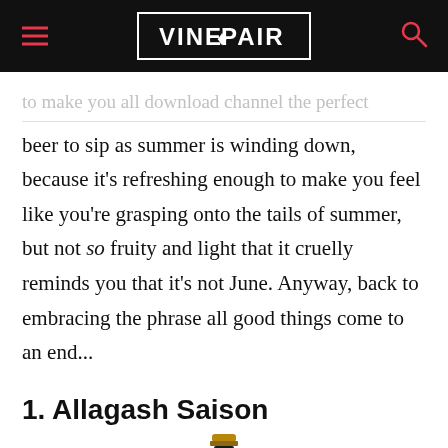VINEPAIR
to make you all download channel the perfect beer to sip as summer is winding down, because it's refreshing enough to make you feel like you're grasping onto the tails of summer, but not so fruity and light that it cruelly reminds you that it's not June. Anyway, back to embracing the phrase all good things come to an end...
1. Allagash Saison
[Figure (photo): Top of a dark beer bottle visible at the bottom of the page]